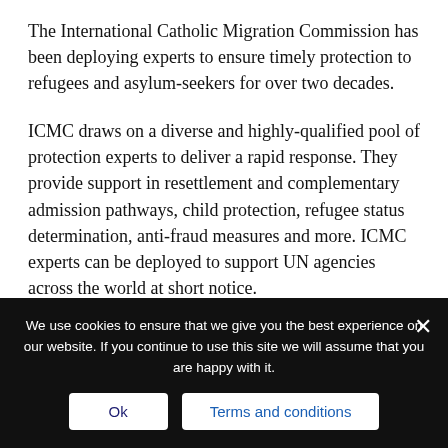The International Catholic Migration Commission has been deploying experts to ensure timely protection to refugees and asylum-seekers for over two decades.
ICMC draws on a diverse and highly-qualified pool of protection experts to deliver a rapid response. They provide support in resettlement and complementary admission pathways, child protection, refugee status determination, anti-fraud measures and more. ICMC experts can be deployed to support UN agencies across the world at short notice.
We use cookies to ensure that we give you the best experience on our website. If you continue to use this site we will assume that you are happy with it.